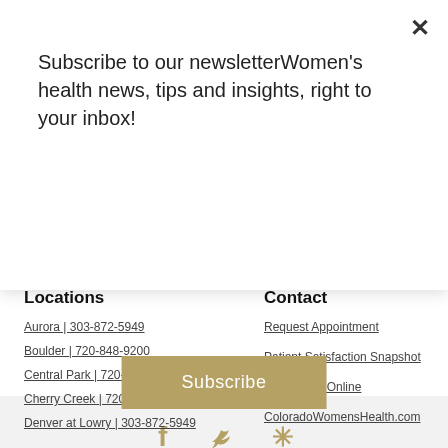Subscribe to our newsletterWomen's health news, tips and insights, right to your inbox!
Subscribe
[Figure (other): Social media icons: Facebook, Twitter, Yelp in gold/tan color on light gray background]
Locations
Contact
Aurora | 303-872-5949
Boulder | 720-848-9200
Central Park | 720-553-2850
Cherry Creek | 720-516-9410
Denver at Lowry | 303-872-5949
Request Appointment
Patient Satisfaction Snapshot
Contact Us Online
ColoradoWomensHealth.com